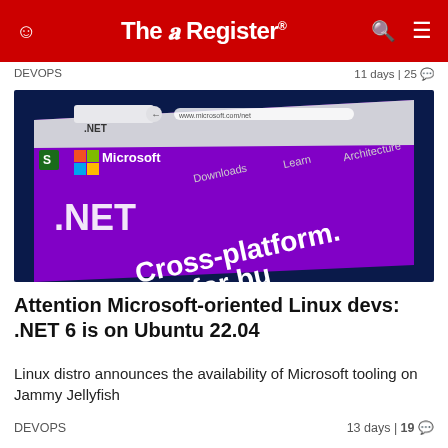The Register
DEVOPS  11 days | 25
[Figure (photo): Screenshot of Microsoft .NET website showing 'Cross-platform. for bu...' text on a purple background, displayed in a browser window on a dark blue surface]
Attention Microsoft-oriented Linux devs: .NET 6 is on Ubuntu 22.04
Linux distro announces the availability of Microsoft tooling on Jammy Jellyfish
DEVOPS  13 days | 19